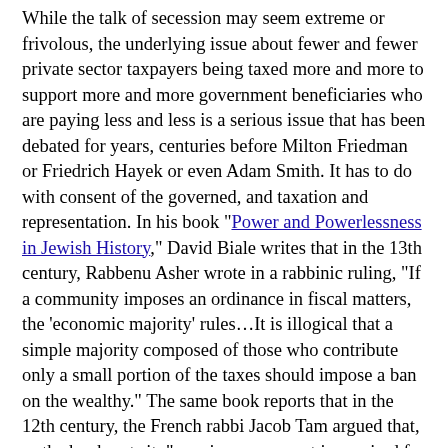While the talk of secession may seem extreme or frivolous, the underlying issue about fewer and fewer private sector taxpayers being taxed more and more to support more and more government beneficiaries who are paying less and less is a serious issue that has been debated for years, centuries before Milton Friedman or Friedrich Hayek or even Adam Smith. It has to do with consent of the governed, and taxation and representation. In his book "Power and Powerlessness in Jewish History," David Biale writes that in the 13th century, Rabbenu Asher wrote in a rabbinic ruling, "If a community imposes an ordinance in fiscal matters, the 'economic majority' rules…It is illogical that a simple majority composed of those who contribute only a small portion of the taxes should impose a ban on the wealthy." The same book reports that in the 12th century, the French rabbi Jacob Tam argued that, as the book puts it, "unanimous consent is required for any enactment that involves taxation." Those two aren't the only perspectives in Jewish thought or Western thought, and they may be